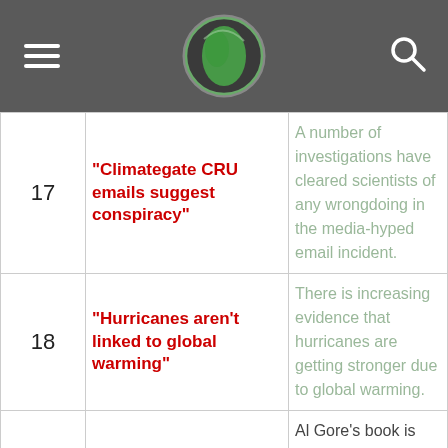[Figure (other): Website header bar with hamburger menu on left, globe logo in center, and search icon on right. Dark gray background.]
| # | Claim | Rebuttal |
| --- | --- | --- |
| 17 | "Climategate CRU emails suggest conspiracy" | A number of investigations have cleared scientists of any wrongdoing in the media-hyped email incident. |
| 18 | "Hurricanes aren't linked to global warming" | There is increasing evidence that hurricanes are getting stronger due to global warming. |
| 19 | "Al Gore got it wrong" | Al Gore's book is quite accurate, and far more accurate than contrarian books. |